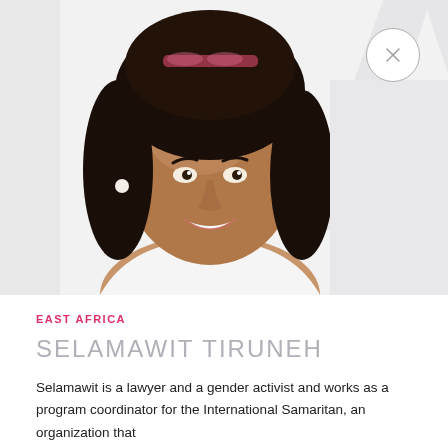[Figure (photo): Portrait photo of Selamawit Tiruneh, a woman smiling at the camera with curly dark hair, wearing a white top, on a white/light gray background. A close (X) button circle appears in the upper right corner.]
EAST AFRICA
SELAMAWIT TIRUNEH
Selamawit is a lawyer and a gender activist and works as a program coordinator for the International Samaritan, an organization that